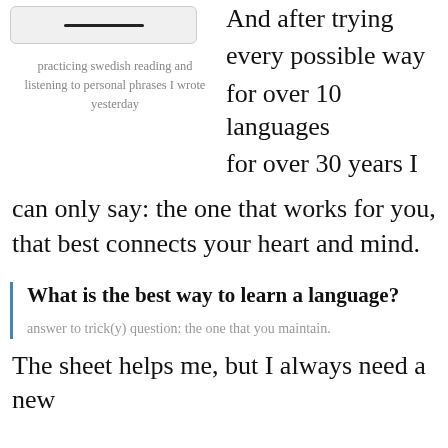[Figure (screenshot): Screenshot of a mobile app showing a horizontal line/divider element]
practicing swedish reading and listening to personal phrases I wrote yesterday
And after trying every possible way for over 10 languages for over 30 years I
can only say: the one that works for you, that best connects your heart and mind.
What is the best way to learn a language?
answer to trick(y) question: the one that you maintain.
The sheet helps me, but I always need a new